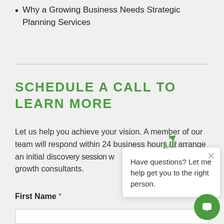Why a Growing Business Needs Strategic Planning Services
SCHEDULE A CALL TO LEARN MORE
Let us help you achieve your vision. A member of our team will respond within 24 business hours to arrange an initial discovery session with one of our growth consultants.
First Name *
[Figure (screenshot): Chat popup overlay with text 'Have questions? Let me help get you to the right person.' and a close (x) button. A green chat bubble icon is visible at bottom right. An LR cursor icon appears near the popup.]